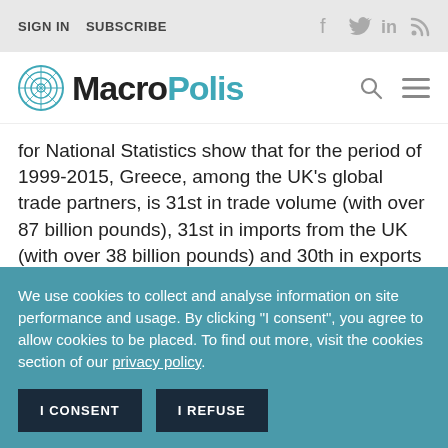SIGN IN   SUBSCRIBE
MacroPolis
for National Statistics show that for the period of 1999-2015, Greece, among the UK's global trade partners, is 31st in trade volume (with over 87 billion pounds), 31st in imports from the UK (with over 38 billion pounds) and 30th in exports to the UK (with over 48 billion pounds). Again, the positive balance of exports versus imports should imply that Greece would be among the
We use cookies to collect and analyse information on site performance and usage. By clicking "I consent", you agree to allow cookies to be placed. To find out more, visit the cookies section of our privacy policy.
I CONSENT    I REFUSE